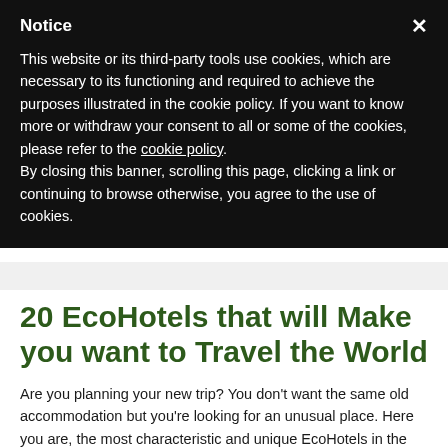Notice
This website or its third-party tools use cookies, which are necessary to its functioning and required to achieve the purposes illustrated in the cookie policy. If you want to know more or withdraw your consent to all or some of the cookies, please refer to the cookie policy.
By closing this banner, scrolling this page, clicking a link or continuing to browse otherwise, you agree to the use of cookies.
20 EcoHotels that will Make you want to Travel the World
Are you planning your new trip? You don't want the same old accommodation but you're looking for an unusual place. Here you are, the most characteristic and unique EcoHotels in the world. You have the opportunity to find out stunning places and also, you'll